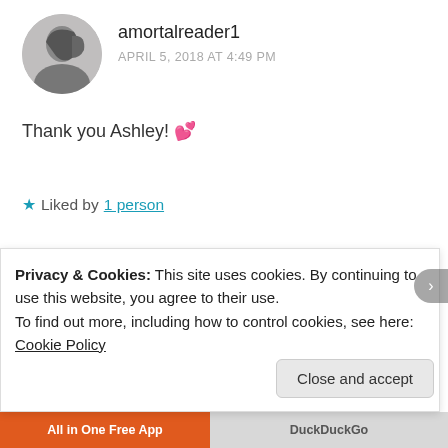[Figure (photo): Circular avatar photo of a person with dark hair, grayscale]
amortalreader1
APRIL 5, 2018 AT 4:49 PM
Thank you Ashley! 💕
★ Liked by 1 person
Reply
[Figure (photo): Circular avatar photo showing an outdoor scene with greenery]
Marie
Privacy & Cookies: This site uses cookies. By continuing to use this website, you agree to their use.
To find out more, including how to control cookies, see here: Cookie Policy
Close and accept